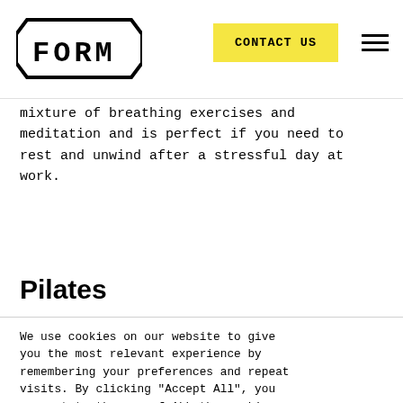FORM | CONTACT US
mixture of breathing exercises and meditation and is perfect if you need to rest and unwind after a stressful day at work.
Pilates
We use cookies on our website to give you the most relevant experience by remembering your preferences and repeat visits. By clicking "Accept All", you consent to the use of ALL the cookies. However, you may visit "Cookie Settings" to provide a controlled consent.
Cookie Settings | Accept All